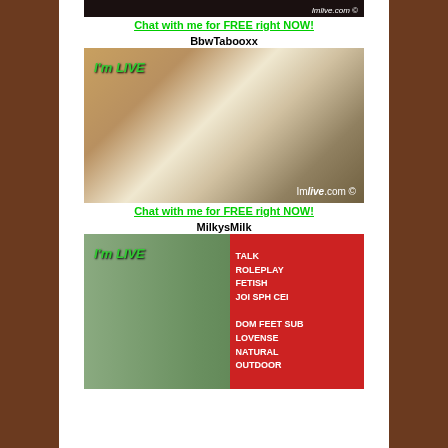[Figure (photo): Partial top image with ImLive.com logo]
Chat with me for FREE right NOW!
BbwTabooxx
[Figure (photo): BbwTabooxx live cam photo with I'm LIVE text overlay and ImLive.com logo]
Chat with me for FREE right NOW!
MilkysMilk
[Figure (photo): MilkysMilk live cam photo with I'm LIVE text overlay and red panel listing: TALK, ROLEPLAY, FETISH, JOI SPH CEI, DOM FEET SUB, LOVENSE, NATURAL, OUTDOOR]